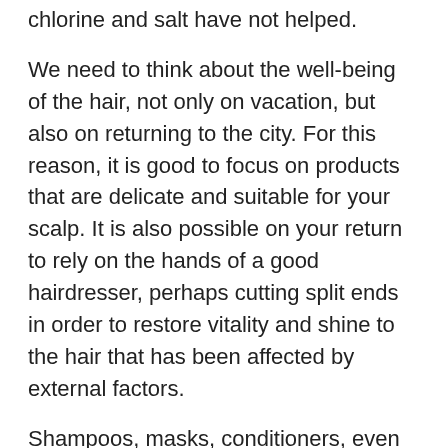chlorine and salt have not helped.
We need to think about the well-being of the hair, not only on vacation, but also on returning to the city. For this reason, it is good to focus on products that are delicate and suitable for your scalp. It is also possible on your return to rely on the hands of a good hairdresser, perhaps cutting split ends in order to restore vitality and shine to the hair that has been affected by external factors.
Shampoos, masks, conditioners, even wraps are some of the best solutions to highlight and shine your hair back on holiday. Vitamin E or antioxidant-based lotions can also be used to restore shine to the hair. A spray lotion like Foltina Plus is just as effective in stopping hair loss and making it grow in a healthy way.
It is also very important to consume a diet that is